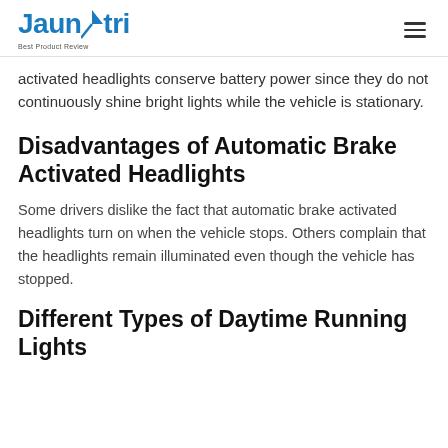Jaunatri — Best Product Review
activated headlights conserve battery power since they do not continuously shine bright lights while the vehicle is stationary.
Disadvantages of Automatic Brake Activated Headlights
Some drivers dislike the fact that automatic brake activated headlights turn on when the vehicle stops. Others complain that the headlights remain illuminated even though the vehicle has stopped.
Different Types of Daytime Running Lights